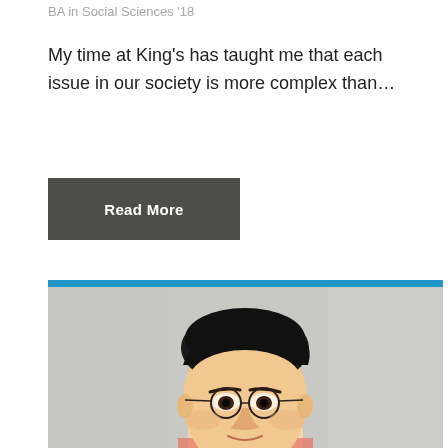BA in Social Sciences '18
My time at King's has taught me that each issue in our society is more complex than…
Read More
[Figure (photo): Close-up portrait photo of a young Asian man with styled dark hair and round metal-framed glasses, photographed against a light grey/concrete wall background. A thin blue horizontal bar appears at the top of the photo.]